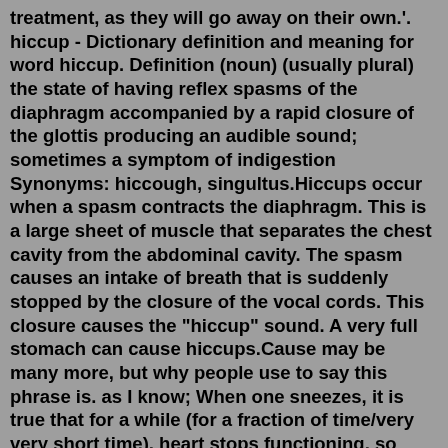treatment, as they will go away on their own.'. hiccup - Dictionary definition and meaning for word hiccup. Definition (noun) (usually plural) the state of having reflex spasms of the diaphragm accompanied by a rapid closure of the glottis producing an audible sound; sometimes a symptom of indigestion Synonyms: hiccough, singultus.Hiccups occur when a spasm contracts the diaphragm. This is a large sheet of muscle that separates the chest cavity from the abdominal cavity. The spasm causes an intake of breath that is suddenly stopped by the closure of the vocal cords. This closure causes the "hiccup" sound. A very full stomach can cause hiccups.Cause may be many more, but why people use to say this phrase is. as I know; When one sneezes, it is true that for a while (for a fraction of time/very very short time), heart stops functioning, so people say "God Bless you." Hiccups: Sometimes it happens when people eat food, air which is present in the food pipe does not allow the food to ...Some things that irritate the diaphragm...